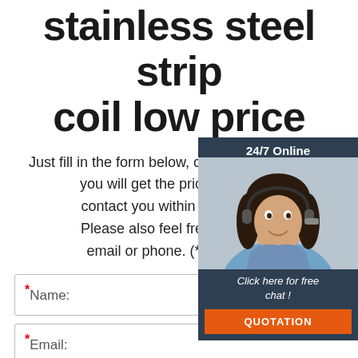stainless steel strip coil low price
Just fill in the form below, click submit, you will get the price list, and we will contact you within one working day. Please also feel free to contact us via email or phone. (* is required)
[Figure (infographic): Customer service chat widget with '24/7 Online' header, photo of woman with headset, 'Click here for free chat!' text, and orange QUOTATION button]
* Name:
* Email:
Please Enter Other Contact Information
Whatsapp  Wechat  Skype  (radio buttons)